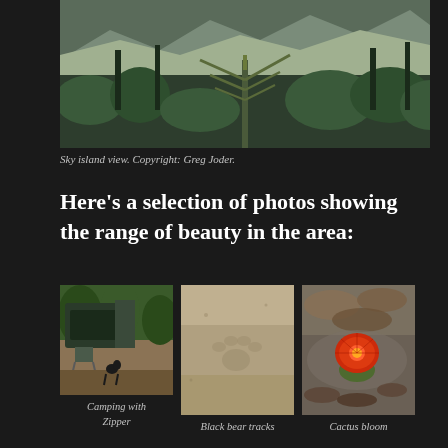[Figure (photo): Sky island landscape view with mountains, trees, and a large yucca plant in the foreground]
Sky island view. Copyright: Greg Joder.
Here’s a selection of photos showing the range of beauty in the area:
[Figure (photo): Camping scene with a truck, camping chair, and a dog sitting on the ground in a forested area]
Camping with Zipper
[Figure (photo): Sandy ground with black bear tracks visible in the sand]
Black bear tracks
[Figure (photo): A bright red cactus bloom flower resting on rocky ground with dried leaves]
Cactus bloom